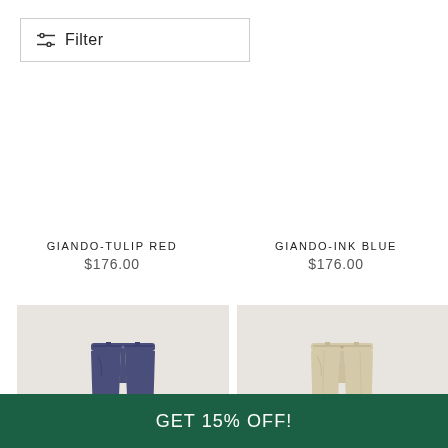[Figure (infographic): Filter button with sliders icon and text 'Filter']
GIANDO-TULIP RED
$176.00
GIANDO-INK BLUE
$176.00
[Figure (photo): Navy blue chino shorts/trousers on light grey background]
[Figure (photo): Beige/cream chino trousers on light grey background]
GET 15% OFF!